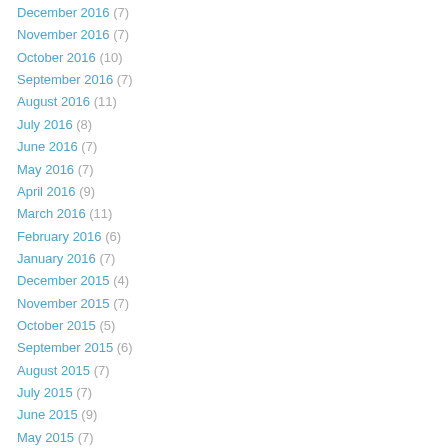December 2016 (7)
November 2016 (7)
October 2016 (10)
September 2016 (7)
August 2016 (11)
July 2016 (8)
June 2016 (7)
May 2016 (7)
April 2016 (9)
March 2016 (11)
February 2016 (6)
January 2016 (7)
December 2015 (4)
November 2015 (7)
October 2015 (5)
September 2015 (6)
August 2015 (7)
July 2015 (7)
June 2015 (9)
May 2015 (7)